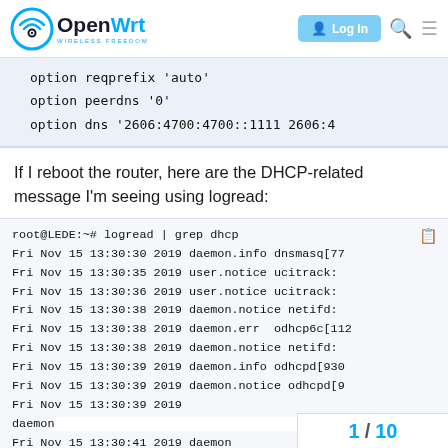OpenWrt — Wireless Freedom | Log In
option reqprefix 'auto'
        option peerdns '0'
        option dns '2606:4700:4700::1111 2606:4...
If I reboot the router, here are the DHCP-related message I'm seeing using logread:
root@LEDE:~# logread | grep dhcp
Fri Nov 15 13:30:30 2019 daemon.info dnsmasq[77...
Fri Nov 15 13:30:35 2019 user.notice ucitrack:
Fri Nov 15 13:30:36 2019 user.notice ucitrack:
Fri Nov 15 13:30:38 2019 daemon.notice netifd:
Fri Nov 15 13:30:38 2019 daemon.err odhcp6c[112...
Fri Nov 15 13:30:38 2019 daemon.notice netifd:
Fri Nov 15 13:30:39 2019 daemon.info odhcpd[930...
Fri Nov 15 13:30:39 2019 daemon.notice odhcpd[9...
Fri Nov 15 13:30:39 2019 daemon.err odhcp6c[11...
Fri Nov 15 13:30:41 2019 daemon...
Fri Nov 15 13:30:43 2019 daemon...
1 / 10